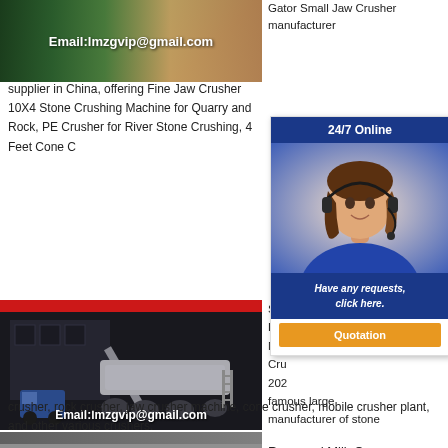[Figure (photo): Industrial machinery photo with email overlay: Email:lmzgvip@gmail.com]
Gator Small Jaw Crusher manufacturer supplier in China, offering Fine Jaw Crusher 10X4 Stone Crushing Machine for Quarry and Rock, PE Crusher for River Stone Crushing, 4 Feet Cone C
[Figure (infographic): 24/7 Online chat widget showing female agent with headset, 'Have any requests, click here.' and Quotation button]
[Figure (photo): Mobile stone crusher equipment with email overlay: Email:lmzgvip@gmail.com]
Sto Roc Mac Cru 202 famous large manufacturer of stone crusher, rock crusher, jaw crusher machine, cone crusher, mobile crusher plant, and other various crushers.
[Figure (photo): Industrial interior/machinery photo at bottom]
Raymond Mill, Ore